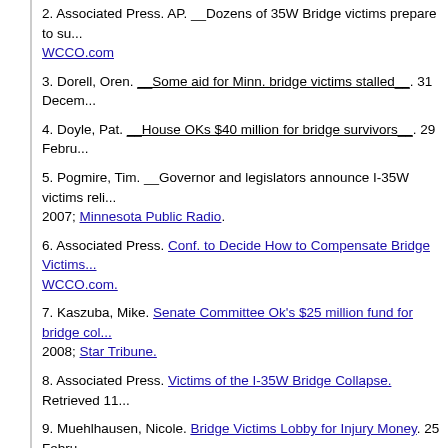2. Associated Press. AP. __Dozens of 35W Bridge victims prepare to su... WCCO.com
3. Dorell, Oren. __Some aid for Minn. bridge victims stalled__. 31 Decem...
4. Doyle, Pat. __House OKs $40 million for bridge survivors__. 29 Febru...
5. Pogmire, Tim. __Governor and legislators announce I-35W victims reli... 2007; Minnesota Public Radio.
6. Associated Press. Conf. to Decide How to Compensate Bridge Victims... WCCO.com.
7. Kaszuba, Mike. Senate Committee Ok's $25 million fund for bridge col... 2008; Star Tribune.
8. Associated Press. Victims of the I-35W Bridge Collapse. Retrieved 11...
9. Muehlhausen, Nicole. Bridge Victims Lobby for Injury Money. 25 Febru...
10. Brown, Kimberly and Gordon, Mercedes. 35W Bridge Victims Fund. 35wbridge.com.
11. Latz, Senator Ron. Senator Latz Proposes Bridge Survivors Comp...